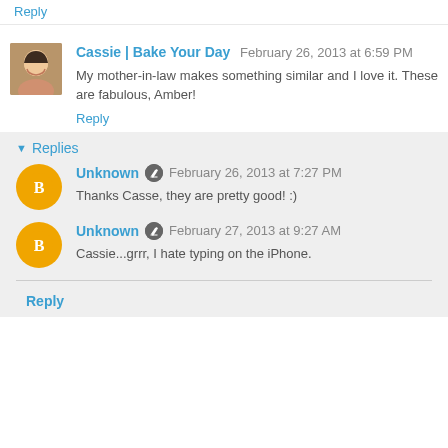Reply
Cassie | Bake Your Day  February 26, 2013 at 6:59 PM
My mother-in-law makes something similar and I love it. These are fabulous, Amber!
Reply
Replies
Unknown  February 26, 2013 at 7:27 PM
Thanks Casse, they are pretty good! :)
Unknown  February 27, 2013 at 9:27 AM
Cassie...grrr, I hate typing on the iPhone.
Reply